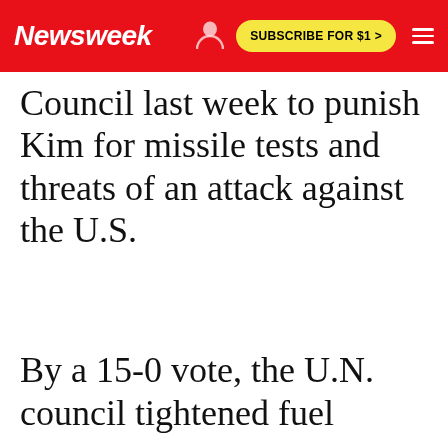Newsweek — SUBSCRIBE FOR $1 >
Council last week to punish Kim for missile tests and threats of an attack against the U.S.
By a 15-0 vote, the U.N. council tightened fuel